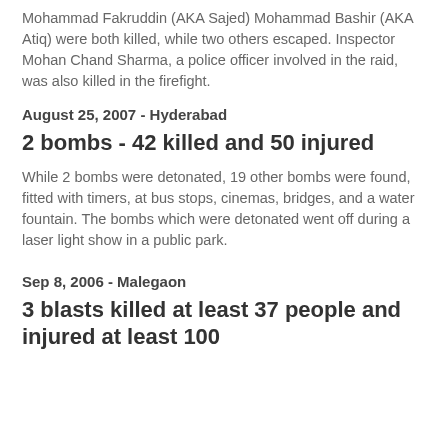Mohammad Fakruddin (AKA Sajed) Mohammad Bashir (AKA Atiq) were both killed, while two others escaped. Inspector Mohan Chand Sharma, a police officer involved in the raid, was also killed in the firefight.
August 25, 2007 - Hyderabad
2 bombs - 42 killed and 50 injured
While 2 bombs were detonated, 19 other bombs were found, fitted with timers, at bus stops, cinemas, bridges, and a water fountain. The bombs which were detonated went off during a laser light show in a public park.
Sep 8, 2006 - Malegaon
3 blasts killed at least 37 people and injured at least 100